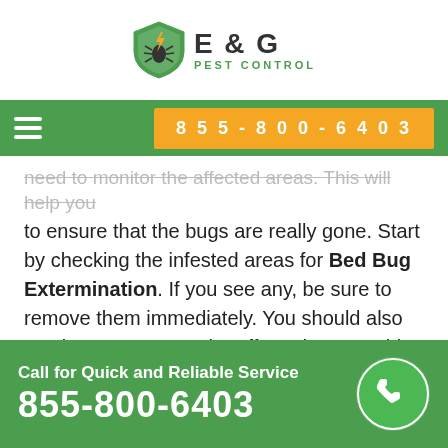[Figure (logo): E & G Pest Control logo with shield and lightning bolt icon]
855-800-6403
need to monitor the affected areas. This will help you to ensure that the bugs are really gone. Start by checking the infested areas for Bed Bug Extermination. If you see any, be sure to remove them immediately. You should also continue to vacuum the affected areas. This will help to remove any bed bugs that are present.
Call for Quick and Reliable Service
855-800-6403